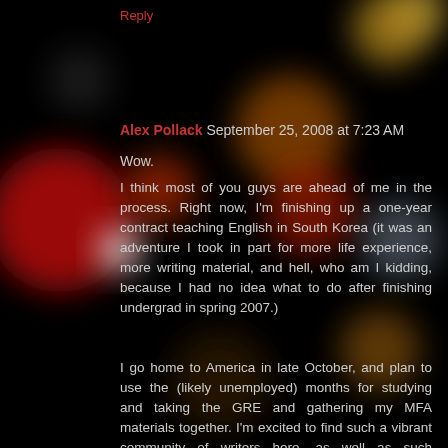Reply
Alex Pollack  September 25, 2008 at 7:23 AM
Wow.
I think most of you guys are ahead of me in the process. Right now, I'm finishing up a one-year contract teaching English in South Korea (it was an adventure I took in part for more life experience, more writing material, and hell, who am I kidding, because I had no idea what to do after finishing undergrad in spring 2007.)
I go home to America in late October, and plan to use the (likely unemployed) months for studying and taking the GRE and gathering my MFA materials together. I'm excited to find such a vibrant community of writers here, as well as such considerate responses to writers' queries. (So refreshing to find an online community free of snarky, empty one-line responses that help nobody.)
Anyway, I have a fairly general question: how much